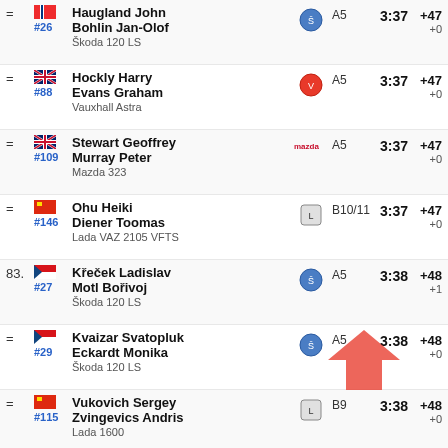= #26 Haugland John / Bohlin Jan-Olof, Škoda 120 LS, A5, 3:37, +47 +0
= #88 Hockly Harry / Evans Graham, Vauxhall Astra, A5, 3:37, +47 +0
= #109 Stewart Geoffrey / Murray Peter, Mazda 323, A5, 3:37, +47 +0
= #146 Ohu Heiki / Diener Toomas, Lada VAZ 2105 VFTS, B10/11, 3:37, +47 +0
83. #27 Křeček Ladislav / Motl Bořivoj, Škoda 120 LS, A5, 3:38, +48 +1
= #29 Kvaizar Svatopluk / Eckardt Monika, Škoda 120 LS, A5, 3:38, +48 +0
= #115 Vukovich Sergey / Zvingevics Andris, Lada 1600, B9, 3:38, +48 +0
86. #84 Gill John / Chapman Bob, Opel Kadett GT/E, A7, 3:39, +49 +1
= #92 Easton Steven / Kay Andy, Vauxhall Astra, A5, 3:39, +49 +0
= #114 Palmby David / Clark Peter, A5, 3:39, +49 +0